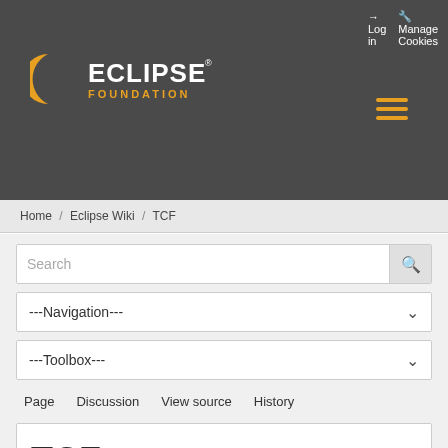Log in  Manage Cookies
[Figure (logo): Eclipse Foundation logo with orange crescent and text 'ECLIPSE FOUNDATION']
Home / Eclipse Wiki / TCF
Search
---Navigation---
---Toolbox---
Page  Discussion  View source  History
TCF